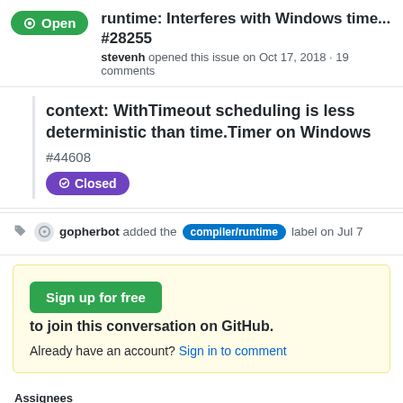runtime: Interferes with Windows time... #28255
stevenh opened this issue on Oct 17, 2018 · 19 comments
context: WithTimeout scheduling is less deterministic than time.Timer on Windows
#44608
Closed
gopherbot added the compiler/runtime label on Jul 7
Sign up for free to join this conversation on GitHub.
Already have an account? Sign in to comment
Assignees
No one assigned